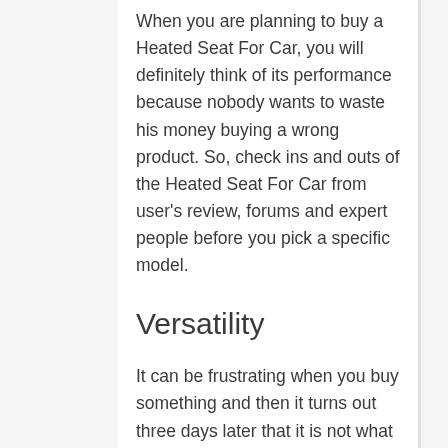When you are planning to buy a Heated Seat For Car, you will definitely think of its performance because nobody wants to waste his money buying a wrong product. So, check ins and outs of the Heated Seat For Car from user's review, forums and expert people before you pick a specific model.
Versatility
It can be frustrating when you buy something and then it turns out three days later that it is not what you need. With a little thought and effort, it is possible to avoid this by